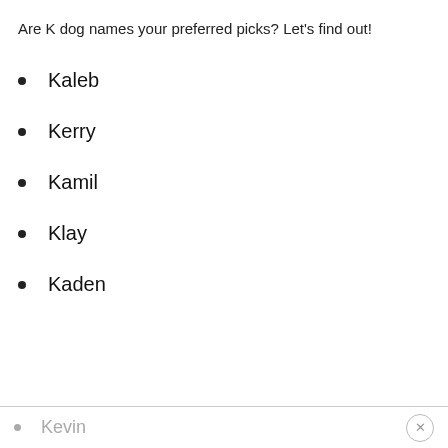Are K dog names your preferred picks? Let's find out!
Kaleb
Kerry
Kamil
Klay
Kaden
Kevin